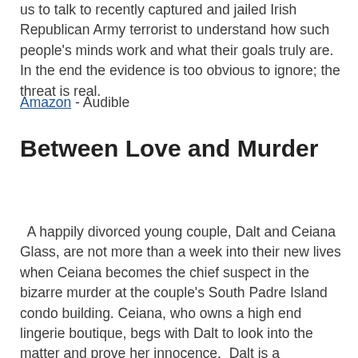us to talk to recently captured and jailed Irish Republican Army terrorist to understand how such people's minds work and what their goals truly are. In the end the evidence is too obvious to ignore; the threat is real.
Amazon - Audible
Between Love and Murder
A happily divorced young couple, Dalt and Ceiana Glass, are not more than a week into their new lives when Ceiana becomes the chief suspect in the bizarre murder at the couple's South Padre Island condo building. Ceiana, who owns a high end lingerie boutique, begs with Dalt to look into the matter and prove her innocence. Dalt is a bestselling novelist